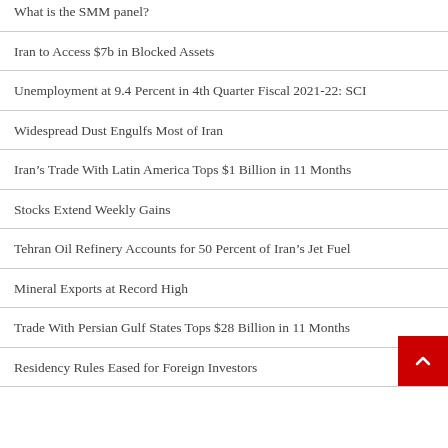What is the SMM panel?
Iran to Access $7b in Blocked Assets
Unemployment at 9.4 Percent in 4th Quarter Fiscal 2021-22: SCI
Widespread Dust Engulfs Most of Iran
Iran's Trade With Latin America Tops $1 Billion in 11 Months
Stocks Extend Weekly Gains
Tehran Oil Refinery Accounts for 50 Percent of Iran's Jet Fuel
Mineral Exports at Record High
Trade With Persian Gulf States Tops $28 Billion in 11 Months
Residency Rules Eased for Foreign Investors